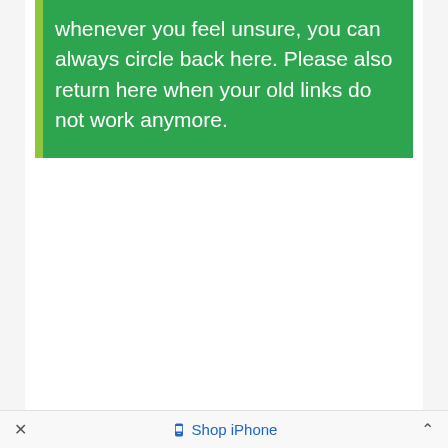whenever you feel unsure, you can always circle back here. Please also return here when your old links do not work anymore.
× Shop iPhone ^